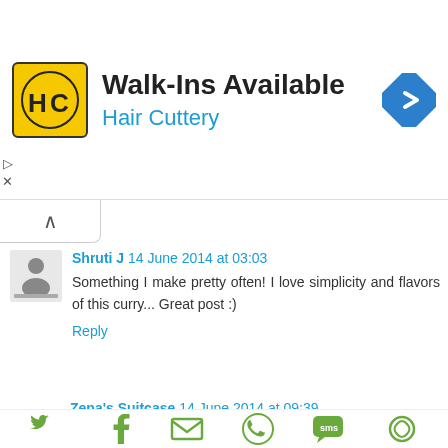[Figure (advertisement): Hair Cuttery Walk-Ins Available advertisement banner with yellow HC logo and blue navigation arrow icon]
Shruti J  14 June 2014 at 03:03
Something I make pretty often! I love simplicity and flavors of this curry... Great post :)
Reply
Zena's Suitcase  14 June 2014 at 09:39
This is one of my favourite dishes, thanks for sharing :-)
Reply
Globalmouse  14 June 2014 at 15:46
[Figure (infographic): Social sharing icons: Twitter (bird), Facebook (f), Email (envelope), WhatsApp, SMS, and another share icon, all in green/olive color]